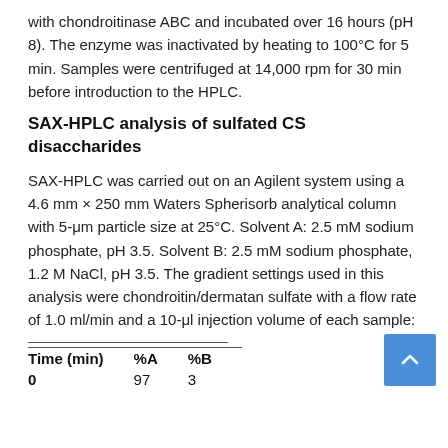with chondroitinase ABC and incubated over 16 hours (pH 8). The enzyme was inactivated by heating to 100°C for 5 min. Samples were centrifuged at 14,000 rpm for 30 min before introduction to the HPLC.
SAX-HPLC analysis of sulfated CS disaccharides
SAX-HPLC was carried out on an Agilent system using a 4.6 mm × 250 mm Waters Spherisorb analytical column with 5-μm particle size at 25°C. Solvent A: 2.5 mM sodium phosphate, pH 3.5. Solvent B: 2.5 mM sodium phosphate, 1.2 M NaCl, pH 3.5. The gradient settings used in this analysis were chondroitin/dermatan sulfate with a flow rate of 1.0 ml/min and a 10-μl injection volume of each sample:
| Time (min) | %A | %B |
| --- | --- | --- |
| 0 | 97 | 3 |